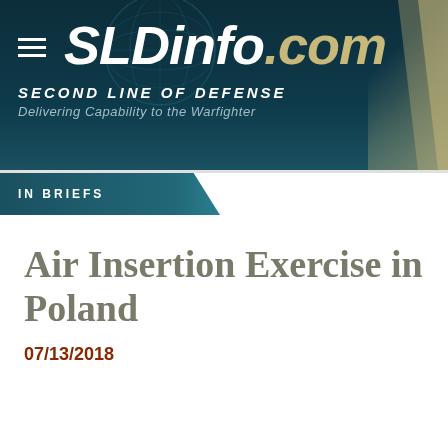[Figure (logo): SLDinfo.com website header banner with logo, globe decoration, and gold diagonal stripe on right. Dark teal/navy background.]
IN BRIEFS
Air Insertion Exercise in Poland
07/13/2018